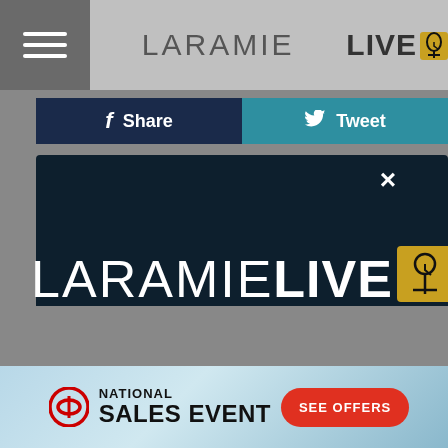[Figure (screenshot): LaramieLive.com website header with hamburger menu icon on the left and LaramieLive logo in the center on a grey navigation bar]
[Figure (screenshot): Facebook Share and Twitter Tweet social sharing buttons]
[Figure (screenshot): Modal popup dialog with dark navy background showing LaramieLive.com logo, close button (X), and white section below with download app call to action]
DOWNLOAD THE LARAMIE LIVE MOBILE APP
GET OUR FREE MOBILE APP
[Figure (screenshot): Toyota National Sales Event advertisement banner with red See Offers button]